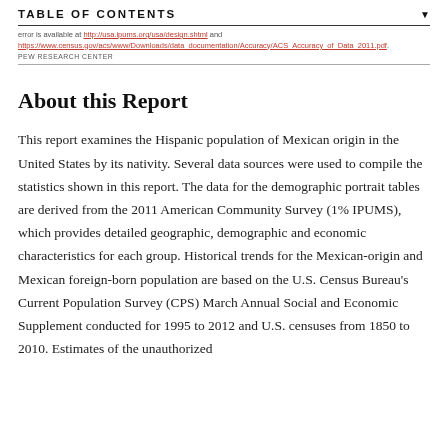TABLE OF CONTENTS
error is available at http://usa.ipums.org/usa/design.shtml and https://www.census.gov/acs/www/Downloads/data_documentation/Accuracy/ACS_Accuracy_of_Data_2011.pdf.
PEW RESEARCH CENTER
About this Report
This report examines the Hispanic population of Mexican origin in the United States by its nativity. Several data sources were used to compile the statistics shown in this report. The data for the demographic portrait tables are derived from the 2011 American Community Survey (1% IPUMS), which provides detailed geographic, demographic and economic characteristics for each group. Historical trends for the Mexican-origin and Mexican foreign-born population are based on the U.S. Census Bureau's Current Population Survey (CPS) March Annual Social and Economic Supplement conducted for 1995 to 2012 and U.S. censuses from 1850 to 2010. Estimates of the unauthorized